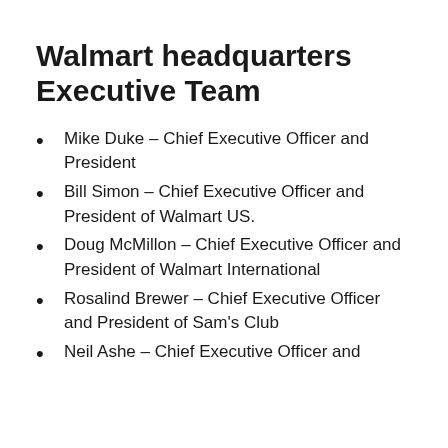Walmart headquarters Executive Team
Mike Duke – Chief Executive Officer and President
Bill Simon – Chief Executive Officer and President of Walmart US.
Doug McMillon – Chief Executive Officer and President of Walmart International
Rosalind Brewer – Chief Executive Officer and President of Sam's Club
Neil Ashe – Chief Executive Officer and